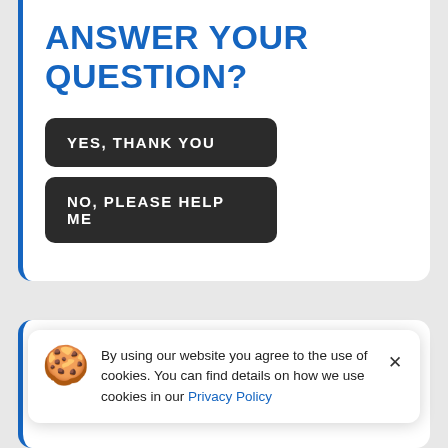ANSWER YOUR QUESTION?
YES, THANK YOU
NO, PLEASE HELP ME
Contents of this...
There is a very easy way to do it.
2) If you have any issues, Please follow
By using our website you agree to the use of cookies. You can find details on how we use cookies in our Privacy Policy